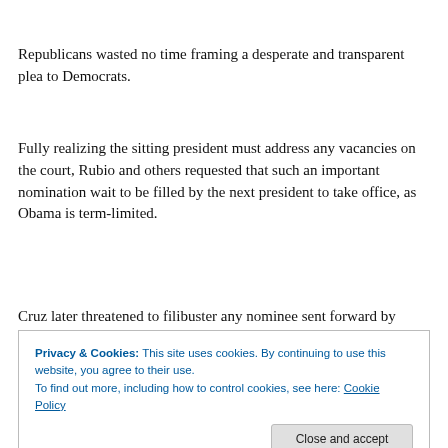Republicans wasted no time framing a desperate and transparent plea to Democrats.
Fully realizing the sitting president must address any vacancies on the court, Rubio and others requested that such an important nomination wait to be filled by the next president to take office, as Obama is term-limited.
Cruz later threatened to filibuster any nominee sent forward by Obama.
Privacy & Cookies: This site uses cookies. By continuing to use this website, you agree to their use.
To find out more, including how to control cookies, see here: Cookie Policy
The rest of the debate was more of a grade school taunt